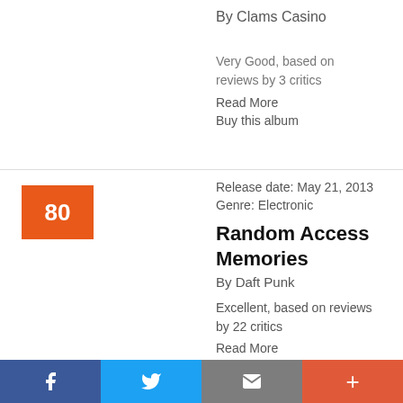By Clams Casino
Very Good, based on reviews by 3 critics
Read More
Buy this album
Release date: May 21, 2013
Genre: Electronic
Random Access Memories
By Daft Punk
Excellent, based on reviews by 22 critics
Read More
Buy this album
[Figure (infographic): Social sharing bar with Facebook, Twitter, Email, and Plus buttons]